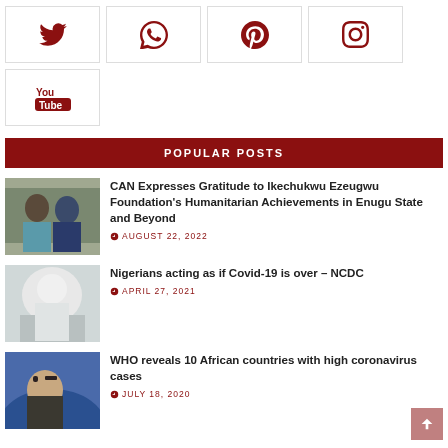[Figure (other): Social media icons row: Twitter, WhatsApp, Pinterest, Instagram]
[Figure (other): YouTube social media icon box]
POPULAR POSTS
[Figure (photo): Two men shaking hands outdoors]
CAN Expresses Gratitude to Ikechukwu Ezeugwu Foundation's Humanitarian Achievements in Enugu State and Beyond
AUGUST 22, 2022
[Figure (photo): Healthcare worker in protective gear]
Nigerians acting as if Covid-19 is over – NCDC
APRIL 27, 2021
[Figure (photo): WHO official portrait against blue background]
WHO reveals 10 African countries with high coronavirus cases
JULY 18, 2020